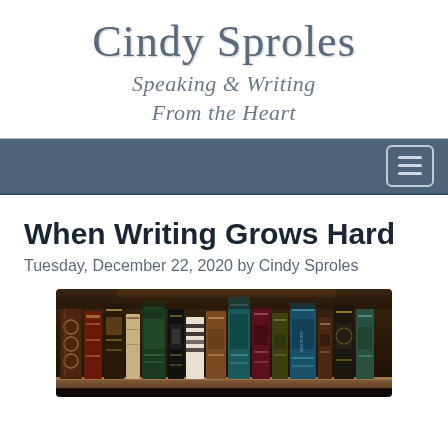Cindy Sproles
Speaking & Writing From the Heart
[Figure (screenshot): Navigation bar with hamburger menu icon on dark blue-grey background]
When Writing Grows Hard
Tuesday, December 22, 2020 by Cindy Sproles
[Figure (photo): Photo of a shelf of old books with decorative spines in warm brown tones]